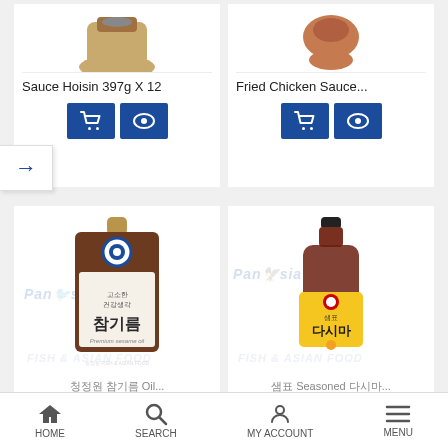Sauce Hoisin 397g X 12
Fried Chicken Sauce...
[Figure (screenshot): Mobile e-commerce app screenshot showing Asian food products: sesame oil (참기름) and Sempio dasima sauce bottles with PanAsia Fish & Asian Food watermarks]
청정원 참기름 Premium Sesame Oil
샘표 다시마
HOME  SEARCH  MY ACCOUNT  MENU